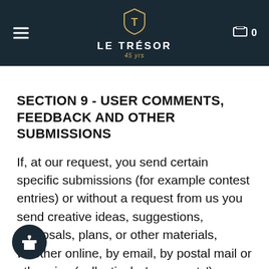LE TRÉSOR
SECTION 9 - USER COMMENTS, FEEDBACK AND OTHER SUBMISSIONS
If, at our request, you send certain specific submissions (for example contest entries) or without a request from us you send creative ideas, suggestions, proposals, plans, or other materials, whether online, by email, by postal mail or otherwise (collectively, 'comments'), you agree that we may, at any time, without restriction, edit, copy, publish, distribute,